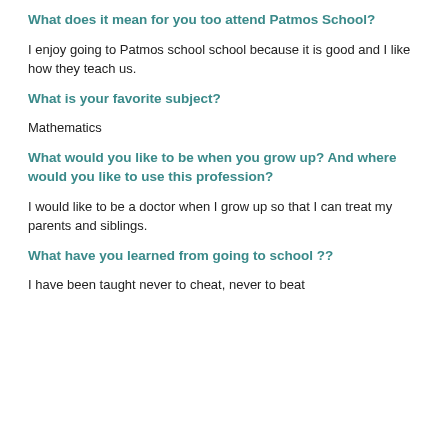What does it mean for you too attend Patmos School?
I enjoy going to Patmos school school because it is good and I like how they teach us.
What is your favorite subject?
Mathematics
What would you like to be when you grow up? And where would you like to use this profession?
I would like to be a doctor when I grow up so that I can treat my parents and siblings.
What have you learned from going to school ??
I have been taught never to cheat, never to beat